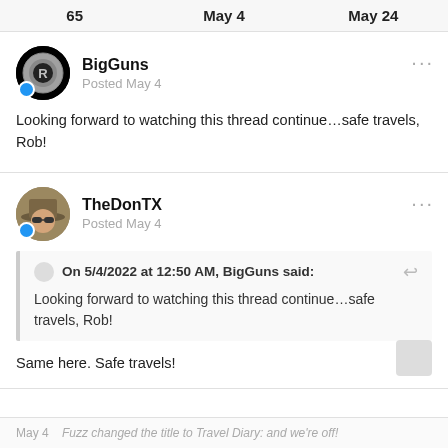65   May 4   May 24
BigGuns
Posted May 4
Looking forward to watching this thread continue…safe travels, Rob!
TheDonTX
Posted May 4
On 5/4/2022 at 12:50 AM, BigGuns said:
Looking forward to watching this thread continue…safe travels, Rob!
Same here. Safe travels!
May 4   Fuzz changed the title to Travel Diary: and we're off!